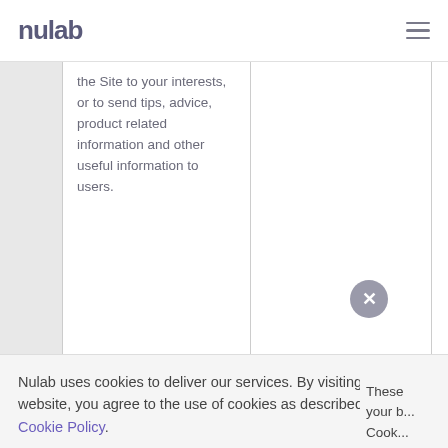nulab
the Site to your interests, or to send tips, advice, product related information and other useful information to users.
Nulab uses cookies to deliver our services. By visiting our website, you agree to the use of cookies as described in our Cookie Policy.
These cookies are used to make the
• DoubleClick
Altern